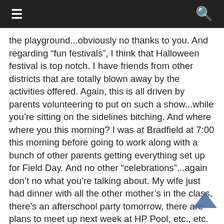≡   🔍
the playground...obviously no thanks to you. And regarding “fun festivals”, I think that Halloween festival is top notch. I have friends from other districts that are totally blown away by the activities offered. Again, this is all driven by parents volunteering to put on such a show...while you’re sitting on the sidelines bitching. And where where you this morning? I was at Bradfield at 7:00 this morning before going to work along with a bunch of other parents getting everything set up for Field Day. And no other “celebrations”...again don’t no what you’re talking about. My wife just had dinner with all the other mother’s in the class, there’s an afterschool party tomorrow, there are plans to meet up next week at HP Pool, etc., etc.
Instead of complaining about what you don’t have, do something to get involved. I used to always wonder